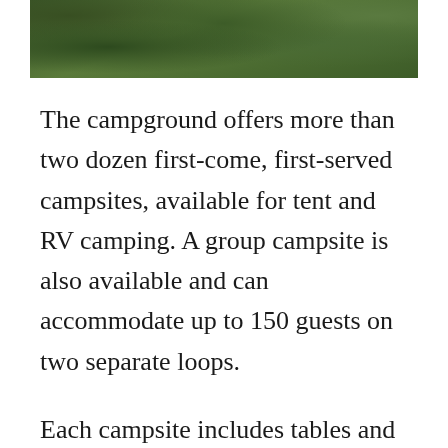[Figure (photo): Photograph of green foliage, ferns and leafy plants, viewed from above or close up in a forested/campground setting.]
The campground offers more than two dozen first-come, first-served campsites, available for tent and RV camping. A group campsite is also available and can accommodate up to 150 guests on two separate loops.
Each campsite includes tables and campfire rings with grills. As well as vault toilets and drinking water. An on-site host is available to answer any questions about the campground